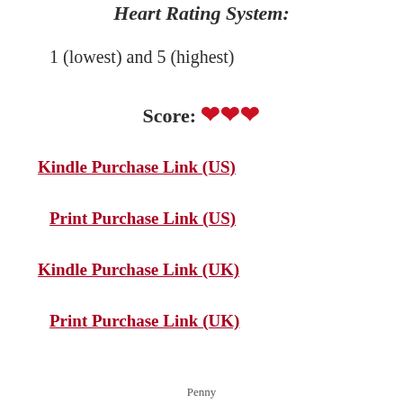Heart Rating System:
1 (lowest) and 5 (highest)
Score: ❤❤❤
Kindle Purchase Link (US)
Print Purchase Link (US)
Kindle Purchase Link (UK)
Print Purchase Link (UK)
Penny